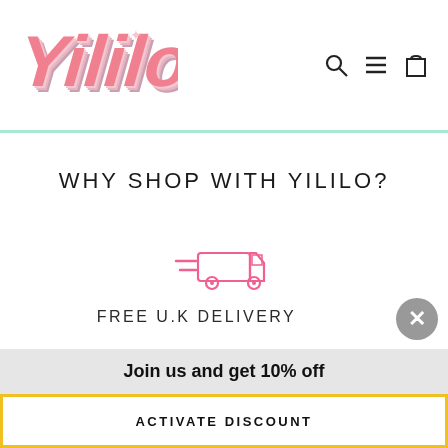[Figure (logo): Yililo brand logo in retro pink groovy font with layered colors]
[Figure (illustration): Navigation icons: search (magnifying glass), hamburger menu, shopping bag]
WHY SHOP WITH YILILO?
[Figure (illustration): Pink outline icon of a delivery truck with speed lines]
FREE U.K DELIVERY
Join us and get 10% off
ACTIVATE DISCOUNT